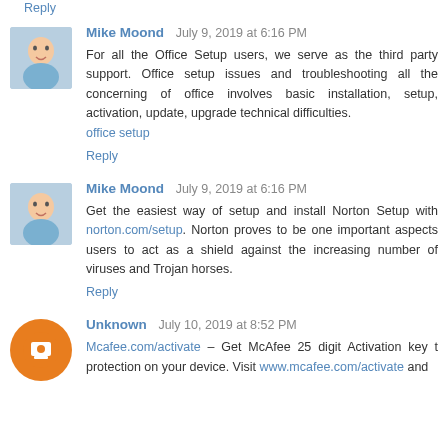Reply
Mike Moond  July 9, 2019 at 6:16 PM
For all the Office Setup users, we serve as the third party support. Office setup issues and troubleshooting all the concerning of office involves basic installation, setup, activation, update, upgrade technical difficulties.
office setup
Reply
Mike Moond  July 9, 2019 at 6:16 PM
Get the easiest way of setup and install Norton Setup with norton.com/setup. Norton proves to be one important aspects users to act as a shield against the increasing number of viruses and Trojan horses.
Reply
Unknown  July 10, 2019 at 8:52 PM
Mcafee.com/activate – Get McAfee 25 digit Activation key t protection on your device. Visit www.mcafee.com/activate and